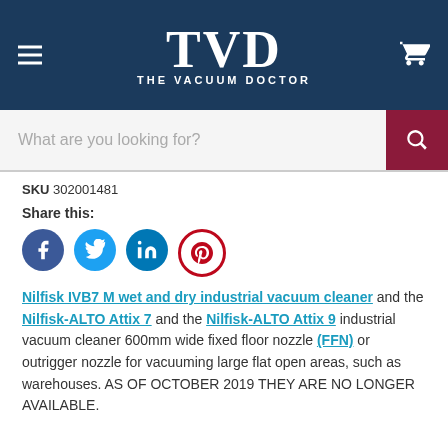[Figure (logo): The Vacuum Doctor (TVD) website header with logo, hamburger menu, and cart icon on dark navy background]
[Figure (screenshot): Search bar with placeholder text 'What are you looking for?' and dark red search button]
SKU 302001481
Share this:
[Figure (infographic): Social share icons: Facebook, Twitter, LinkedIn, Pinterest]
Nilfisk IVB7 M wet and dry industrial vacuum cleaner and the Nilfisk-ALTO Attix 7 and the Nilfisk-ALTO Attix 9 industrial vacuum cleaner 600mm wide fixed floor nozzle (FFN) or outrigger nozzle for vacuuming large flat open areas, such as warehouses. AS OF OCTOBER 2019 THEY ARE NO LONGER AVAILABLE.